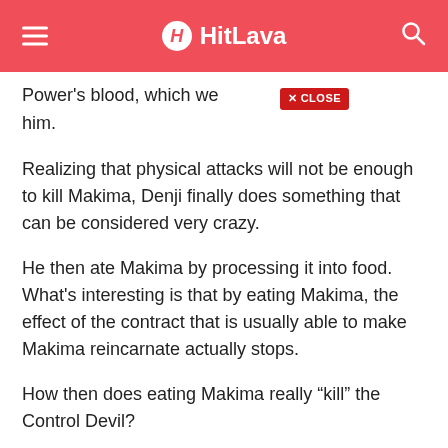HitLava
Power's blood, which weakened him.
Realizing that physical attacks will not be enough to kill Makima, Denji finally does something that can be considered very crazy.
He then ate Makima by processing it into food. What's interesting is that by eating Makima, the effect of the contract that is usually able to make Makima reincarnate actually stops.
How then does eating Makima really “kill” the Control Devil?
Denji himself said that by eating Makima, he actually “unified” with the figure of Makima.